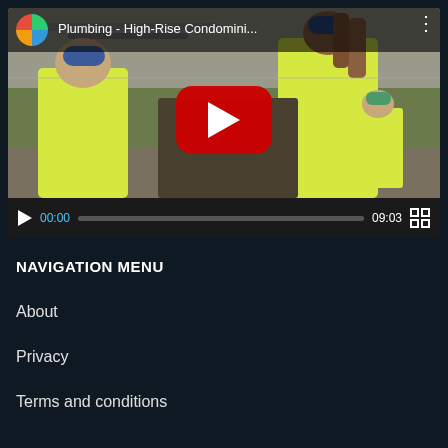[Figure (screenshot): YouTube video player showing 'Plumbing - High-Rise Condomini...' with construction workers in yellow vests, paused at 00:00, duration 09:03]
NAVIGATION MENU
About
Privacy
Terms and conditions